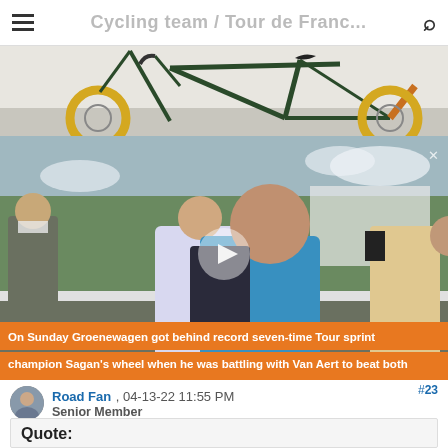Cycling team / Tour de France
[Figure (photo): Partial view of a vintage racing bicycle with green frame and yellow tires against a light background]
[Figure (screenshot): Video screenshot showing people embracing after a cycling race finish, with orange caption overlay reading: 'On Sunday Groenewagen got behind record seven-time Tour sprint champion Sagan's wheel when he was battling with Van Aert to beat both']
#23
Road Fan , 04-13-22 11:55 PM
Senior Member
Quote: